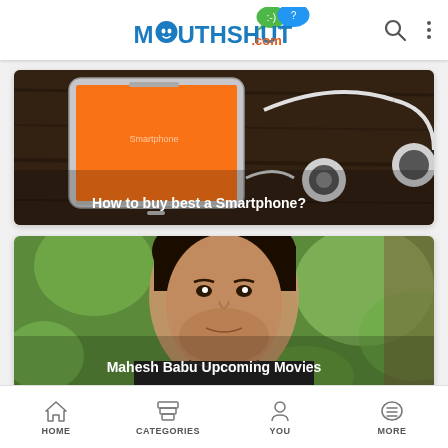[Figure (logo): MouthShut.com logo with colorful emoji speech bubbles]
[Figure (photo): Smartphone with orange screen and white earphones on dark wood surface, with caption 'How to buy best a Smartphone?']
[Figure (photo): Portrait of Mahesh Babu (Indian actor) with bokeh green background, with caption 'Mahesh Babu Upcoming Movies']
[Figure (photo): Partial view of a third article image, dark themed]
HOME   CATEGORIES   YOU   MORE